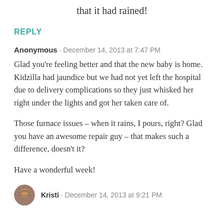that it had rained!
REPLY
Anonymous · December 14, 2013 at 7:47 PM
Glad you're feeling better and that the new baby is home. Kidzilla had jaundice but we had not yet left the hospital due to delivery complications so they just whisked her right under the lights and got her taken care of.
Those furnace issues – when it rains, I pours, right? Glad you have an awesome repair guy – that makes such a difference, doesn't it?
Have a wonderful week!
Kristi · December 14, 2013 at 9:21 PM